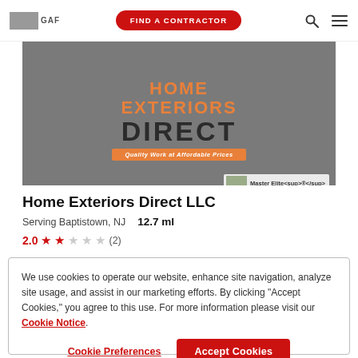GAF | FIND A CONTRACTOR
[Figure (photo): Company banner image showing Home Exteriors Direct logo with orange text on grey background, tagline 'Quality Work at Affordable Prices', and Master Elite® badge]
Home Exteriors Direct LLC
Serving Baptistown, NJ   12.7 ml
2.0 ★★☆☆☆ (2)
We use cookies to operate our website, enhance site navigation, analyze site usage, and assist in our marketing efforts. By clicking "Accept Cookies," you agree to this use. For more information please visit our Cookie Notice.
Cookie Preferences | Accept Cookies